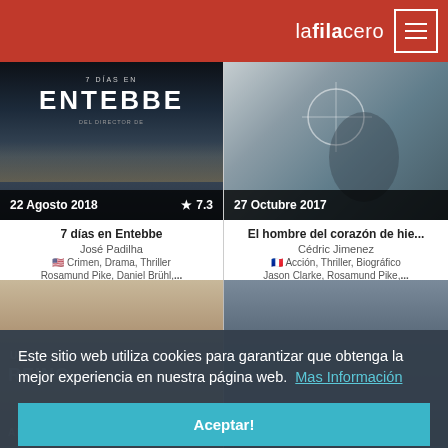lafilacero
[Figure (photo): Movie poster for '7 días en Entebbe' showing soldiers silhouetted against light, with text '7 DIAS EN ENTEBBE'. Date label: 22 Agosto 2018, rating star 7.3]
[Figure (photo): Movie poster for 'El hombre del corazón de hierro' showing a crosshair/scope sight with a person's silhouette. Date label: 27 Octubre 2017]
7 días en Entebbe
José Padilha
🇺🇸 Crimen, Drama, Thriller
Rosamund Pike, Daniel Brühl,...
El hombre del corazón de hie...
Cédric Jimenez
🇫🇷 Acción, Thriller, Biográfico
Jason Clarke, Rosamund Pike,...
Este sitio web utiliza cookies para garantizar que obtenga la mejor experiencia en nuestra página web.  Mas Información
Aceptar!